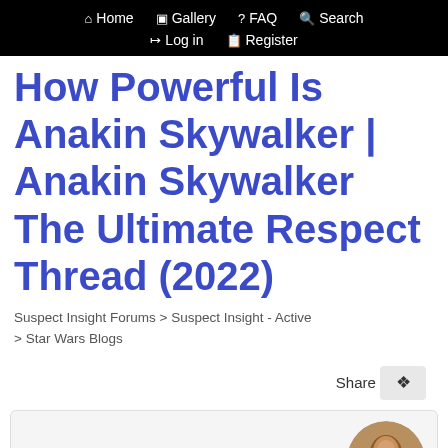Home  Gallery  FAQ  Search  Log in  Register
How Powerful Is Anakin Skywalker | Anakin Skywalker The Ultimate Respect Thread (2022)
Suspect Insight Forums > Suspect Insight - Active > Star Wars Blogs
Share
Ho...  ★ 6